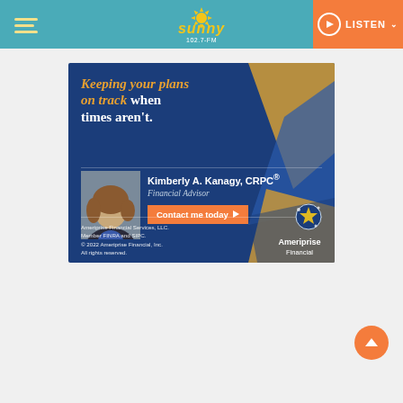Sunny 102.7-FM | LISTEN
[Figure (infographic): Ameriprise Financial advertisement featuring Kimberly A. Kanagy, CRPC Financial Advisor. Dark blue and gold background with geometric shapes. Headline reads 'Keeping your plans on track when times aren't.' with a photo of the advisor. Includes 'Contact me today' button and Ameriprise Financial logo. Footer: Ameriprise Financial Services, LLC. Member FINRA and SIPC. © 2022 Ameriprise Financial, Inc. All rights reserved.]